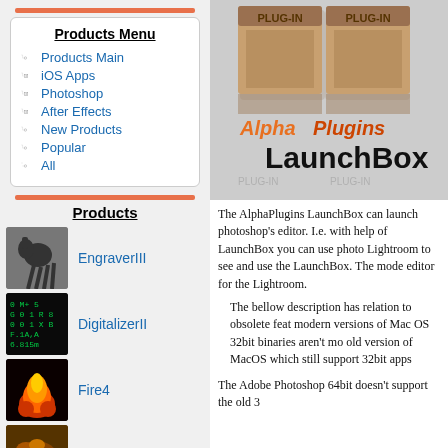Products Menu
Products Main
iOS Apps
Photoshop
After Effects
New Products
Popular
All
Products
EngraverIII
DigitalizerII
Fire4
TurbulenceDist
DigitalChaos
[Figure (illustration): AlphaPlugins LaunchBox product logo — cardboard box labeled PLUG-IN with AlphaPlugins LaunchBox text overlay]
The AlphaPlugins LaunchBox can launch photoshop's editor. I.e. with help of LaunchBox you can use photo Lightroom to see and use the LaunchBox. The mode editor for the Lightroom.
The bellow description has relation to obsolete feat modern versions of Mac OS 32bit binaries aren't mo old version of MacOS which still support 32bit apps
The Adobe Photoshop 64bit doesn't support the old 3